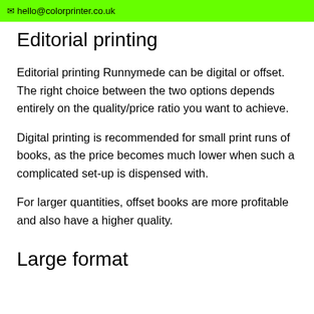✉ hello@colorprinter.co.uk
Editorial printing
Editorial printing Runnymede can be digital or offset. The right choice between the two options depends entirely on the quality/price ratio you want to achieve.
Digital printing is recommended for small print runs of books, as the price becomes much lower when such a complicated set-up is dispensed with.
For larger quantities, offset books are more profitable and also have a higher quality.
Large format